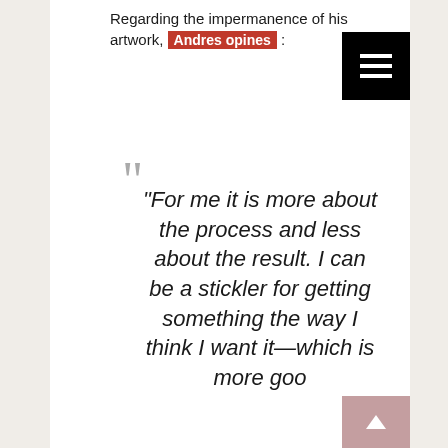Regarding the impermanence of his artwork, Andres opines :
“For me it is more about the process and less about the result. I can be a stickler for getting something the way I think I want it—which is more goo